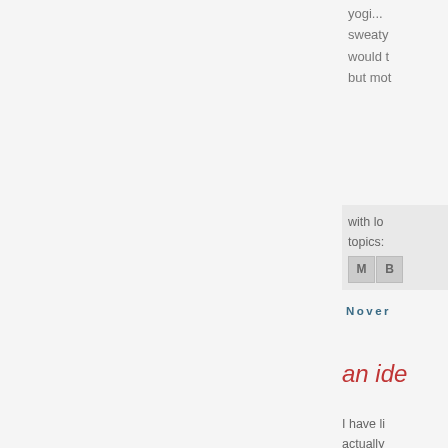yogi... sweaty would t but mot
with lo topics:
M B
Nove
an ide
I have li actually I almos explore when I t